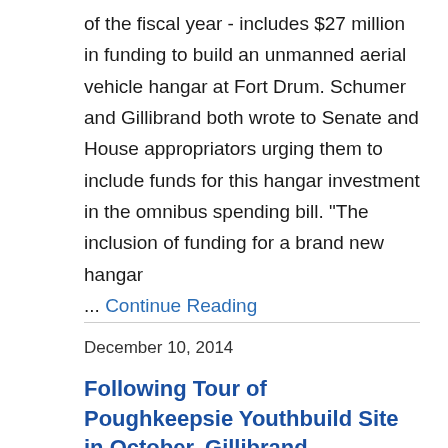of the fiscal year - includes $27 million in funding to build an unmanned aerial vehicle hangar at Fort Drum. Schumer and Gillibrand both wrote to Senate and House appropriators urging them to include funds for this hangar investment in the omnibus spending bill. "The inclusion of funding for a brand new hangar ... Continue Reading
December 10, 2014
Following Tour of Poughkeepsie Youthbuild Site in October, Gillibrand Announces Over $70 Million in Federal...